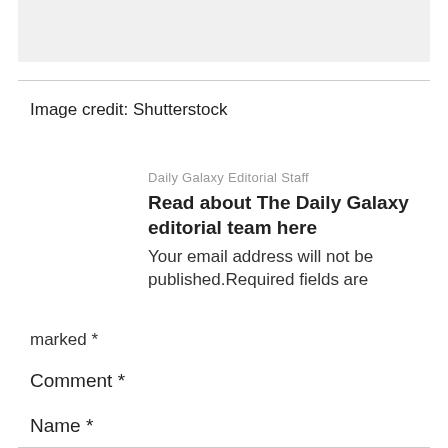[Figure (other): Gray image placeholder box at the top of the page]
Image credit: Shutterstock
Daily Galaxy Editorial Staff
Read about The Daily Galaxy editorial team here
Your email address will not be published.Required fields are marked *
Comment *
Name *